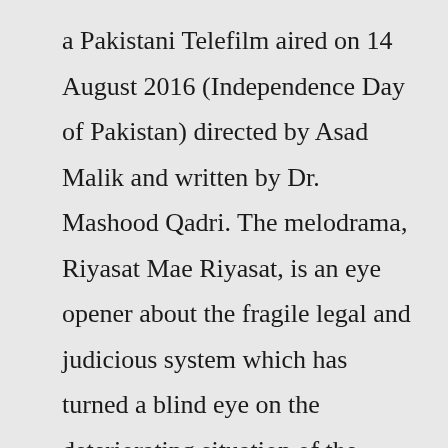a Pakistani Telefilm aired on 14 August 2016 (Independence Day of Pakistan) directed by Asad Malik and written by Dr. Mashood Qadri. The melodrama, Riyasat Mae Riyasat, is an eye opener about the fragile legal and judicious system which has turned a blind eye on the deteriorating situation of the prisons: "Justice delayed is Justice ...Nonton Full Movie Riyasat. Streaming Riyasat adalah kisah tentang